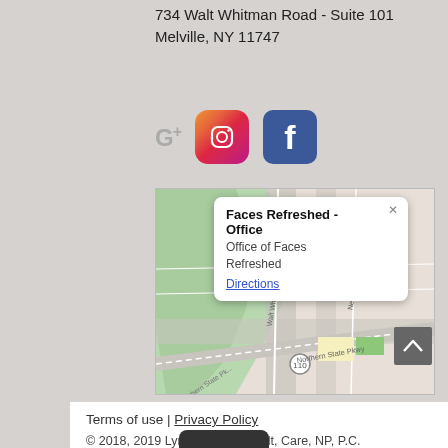734 Walt Whitman Road - Suite 101
Melville, NY 11747
[Figure (screenshot): Social media icons: Google+, Instagram, Facebook]
[Figure (map): Google Maps screenshot showing Faces Refreshed - Office location near Walt Whitman Road and Northern State Pkwy, Melville NY, with an info popup showing 'Faces Refreshed - Office', 'Office of Faces Refreshed', and a 'Directions' link]
Terms of use | Privacy Policy
© 2018, 2019 Lynnette Allen Adult, Care, NP, P.C.